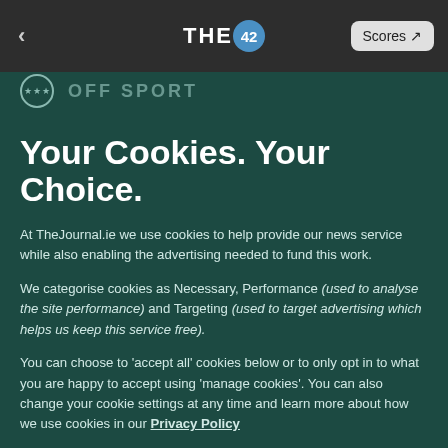THE 42 | Scores
[Figure (screenshot): Dark banner strip with OFF SPORT text and circular logo]
Your Cookies. Your Choice.
At TheJournal.ie we use cookies to help provide our news service while also enabling the advertising needed to fund this work.
We categorise cookies as Necessary, Performance (used to analyse the site performance) and Targeting (used to target advertising which helps us keep this service free).
You can choose to 'accept all' cookies below or to only opt in to what you are happy to accept using 'manage cookies'. You can also change your cookie settings at any time and learn more about how we use cookies in our Privacy Policy